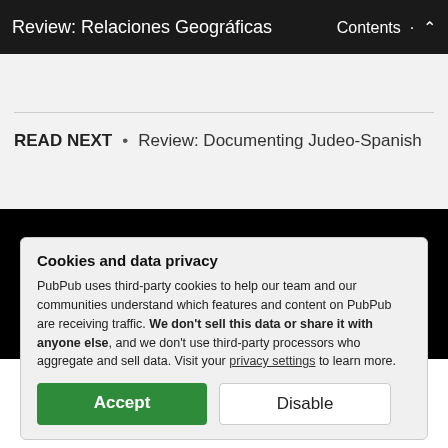Review: Relaciones Geográficas  Contents
READ NEXT • Review: Documenting Judeo-Spanish
Reviews in Digital Humanities
RSS · Legal
Cookies and data privacy
PubPub uses third-party cookies to help our team and our communities understand which features and content on PubPub are receiving traffic. We don't sell this data or share it with anyone else, and we don't use third-party processors who aggregate and sell data. Visit your privacy settings to learn more.
Accept  Disable